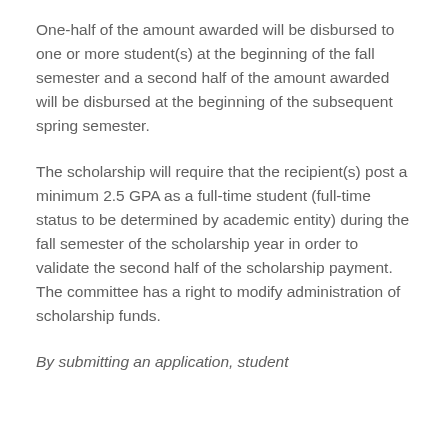One-half of the amount awarded will be disbursed to one or more student(s) at the beginning of the fall semester and a second half of the amount awarded will be disbursed at the beginning of the subsequent spring semester.
The scholarship will require that the recipient(s) post a minimum 2.5 GPA as a full-time student (full-time status to be determined by academic entity) during the fall semester of the scholarship year in order to validate the second half of the scholarship payment. The committee has a right to modify administration of scholarship funds.
By submitting an application, student